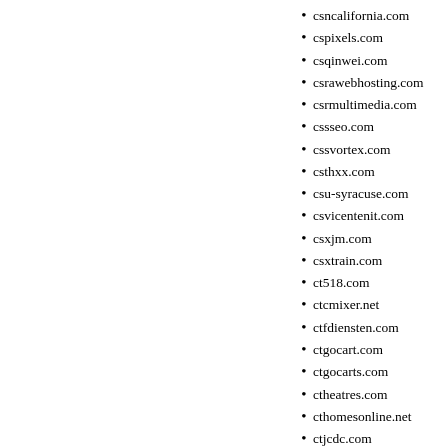csncalifornia.com
cspixels.com
csqinwei.com
csrawebhosting.com
csrmultimedia.com
cssseo.com
cssvortex.com
csthxx.com
csu-syracuse.com
csvicentenit.com
csxjm.com
csxtrain.com
ct518.com
ctcmixer.net
ctfdiensten.com
ctgocart.com
ctgocarts.com
ctheatres.com
cthomesonline.net
ctjcdc.com
ctownsfinest.com
ctphonestore.com
ctronelectronics.com
ctsglove.com
cu01eng.com
cuad4.com
cuadco.com
cubadreamgirls.com